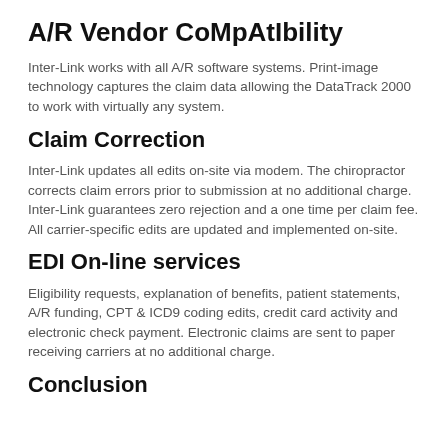A/R Vendor CoMpAtIbility
Inter-Link works with all A/R software systems. Print-image technology captures the claim data allowing the DataTrack 2000 to work with virtually any system.
Claim Correction
Inter-Link updates all edits on-site via modem. The chiropractor corrects claim errors prior to submission at no additional charge. Inter-Link guarantees zero rejection and a one time per claim fee. All carrier-specific edits are updated and implemented on-site.
EDI On-line services
Eligibility requests, explanation of benefits, patient statements, A/R funding, CPT & ICD9 coding edits, credit card activity and electronic check payment. Electronic claims are sent to paper receiving carriers at no additional charge.
Conclusion